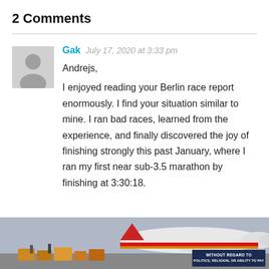2 Comments
Gak  July 17, 2020 at 3:33 pm

Andrejs,

I enjoyed reading your Berlin race report enormously. I find your situation similar to mine. I ran bad races, learned from the experience, and finally discovered the joy of finishing strongly this past January, where I ran my first near sub-3.5 marathon by finishing at 3:30:18.
[Figure (photo): Advertisement banner showing an airplane being loaded with cargo, with text overlay 'WITHOUT REGARD TO POLITICS, RELIGION, OR ABILITY TO PAY']